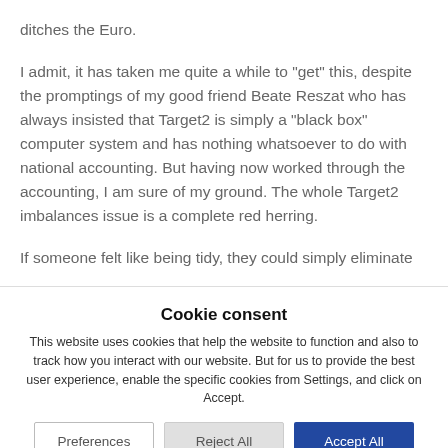ditches the Euro.
I admit, it has taken me quite a while to "get" this, despite the promptings of my good friend Beate Reszat who has always insisted that Target2 is simply a "black box" computer system and has nothing whatsoever to do with national accounting. But having now worked through the accounting, I am sure of my ground. The whole Target2 imbalances issue is a complete red herring.
If someone felt like being tidy, they could simply eliminate
Cookie consent
This website uses cookies that help the website to function and also to track how you interact with our website. But for us to provide the best user experience, enable the specific cookies from Settings, and click on Accept.
Preferences | Reject All | Accept All